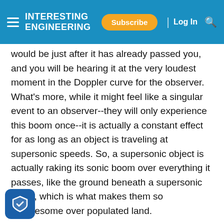INTERESTING ENGINEERING — Subscribe | Log In
would be just after it has already passed you, and you will be hearing it at the very loudest moment in the Doppler curve for the observer. What's more, while it might feel like a singular event to an observer--they will only experience this boom once--it is actually a constant effect for as long as an object is traveling at supersonic speeds. So, a supersonic object is actually raking its sonic boom over everything it passes, like the ground beneath a supersonic plane, which is what makes them so troublesome over populated land.
[Figure (photo): Gray placeholder image block]
This last part has led to restrictions on supersonic flight over land, which is something that many aerospace companies are trying to address. The X-59 QueSST is part of a major industry effort to reduce